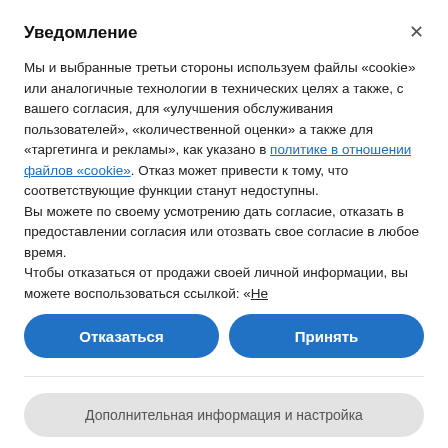Уведомление
Мы и выбранные третьи стороны используем файлы «cookie» или аналогичные технологии в технических целях а также, с вашего согласия, для «улучшения обслуживания пользователей», «количественной оценки» а также для «таргетинга и рекламы», как указано в политике в отношении файлов «cookie». Отказ может привести к тому, что соответствующие функции станут недоступны.
Вы можете по своему усмотрению дать согласие, отказать в предоставлении согласия или отозвать свое согласие в любое время.
Чтобы отказаться от продажи своей личной информации, вы можете воспользоваться ссылкой: «Не
Отказаться
Принять
Дополнительная информация и настройка